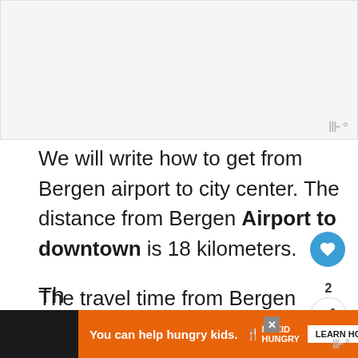[Figure (photo): Partially visible image area at top of page, mostly white/light gray, serving as a header image placeholder]
We will write how to get from Bergen airport to city center. The distance from Bergen Airport to downtown is 18 kilometers.
The travel time from Bergen airport to city center around 20 minutes by car. And by bus will be around 30 minutes and 160 NOK which is €15. Click here to book online Bergen airport transfers and day trips
Th...